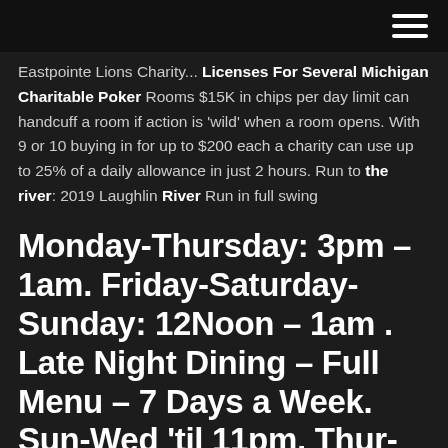Eastpointe Lions Charity... Licenses For Several Michigan Charitable Poker Rooms $15K in chips per day limit can handcuff a room if action is 'wild' when a room opens. With 9 or 10 buying in for up to $200 each a charity can use up to 25% of a daily allowance in just 2 hours. Run to the river: 2019 Laughlin River Run in full swing
Monday-Thursday: 3pm – 1am. Friday-Saturday-Sunday: 12Noon – 1am . Late Night Dining – Full Menu – 7 Days a Week. Sun-Wed 'til 11pm, Thur-Sat 'til Midnight
$15K in chips per day limit can handcuff a room if action is 'wild' when a room opens. With 9 or 10 buying in for up to $